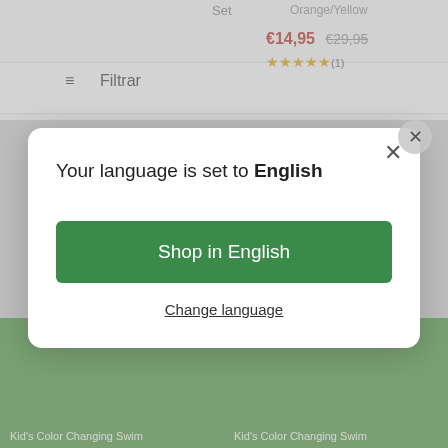Set
Orange/Yellow
€14,95 €29,95
Filtrar
GET 15% OFF!
Your language is set to English
Shop in English
Change language
The discount does not apply to items on sale.
[Figure (illustration): Green circular chat/support button with speech bubble icon]
Kid's Color Changing Swim
Kid's Color Changing Swim